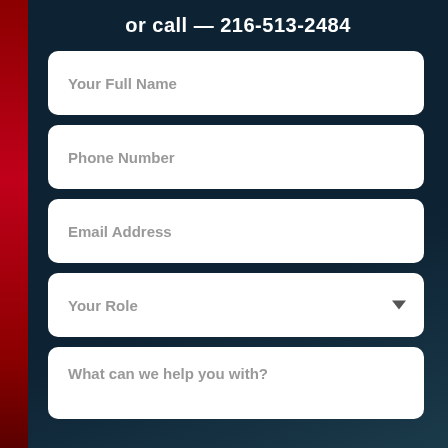or call — 216-513-2484
Your Full Name
Phone Number
Email Address
Your Role
What can we help you with?